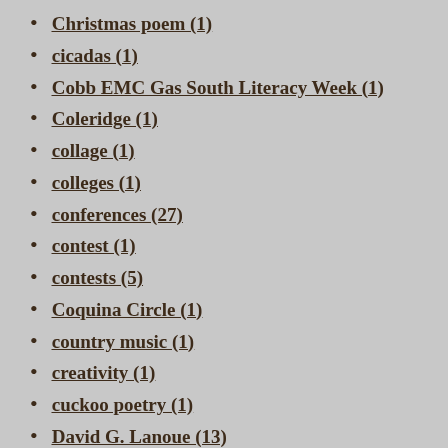Christmas poem (1)
cicadas (1)
Cobb EMC Gas South Literacy Week (1)
Coleridge (1)
collage (1)
colleges (1)
conferences (27)
contest (1)
contests (5)
Coquina Circle (1)
country music (1)
creativity (1)
cuckoo poetry (1)
David G. Lanoue (13)
David Jacobson (1)
David Oates (1)